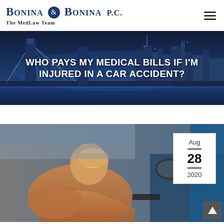[Figure (logo): Bonina & Bonina P.C. — The MedLaw Team law firm logo with navy blue text and circled ampersand]
[Figure (photo): City skyline at night (Brooklyn Bridge, Manhattan) used as hero banner background]
WHO PAYS MY MEDICAL BILLS IF I'M INJURED IN A CAR ACCIDENT?
[Figure (photo): Woman in orange sweater leaning into a car, looking distressed after an accident]
Aug
28
2020